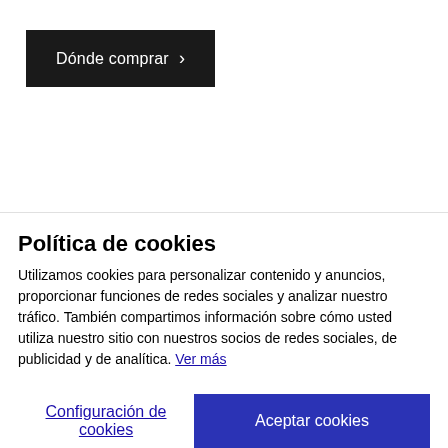[Figure (other): Black button with text 'Dónde comprar' and a right arrow chevron]
Política de cookies
Utilizamos cookies para personalizar contenido y anuncios, proporcionar funciones de redes sociales y analizar nuestro tráfico. También compartimos información sobre cómo usted utiliza nuestro sitio con nuestros socios de redes sociales, de publicidad y de analítica. Ver más
Configuración de cookies
Aceptar cookies